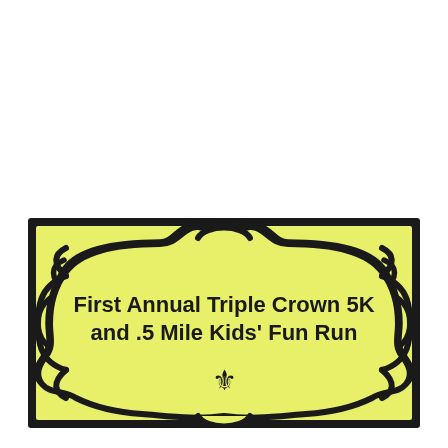[Figure (illustration): A decorative badge/label with a yellow-green background and thick black border featuring ornate curved and scalloped edges with a fleur-de-lis at the bottom. Text inside reads 'First Annual Triple Crown 5K and .5 Mile Kids' Fun Run'.]